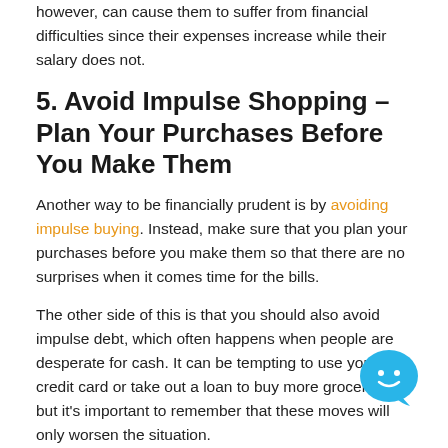however, can cause them to suffer from financial difficulties since their expenses increase while their salary does not.
5. Avoid Impulse Shopping – Plan Your Purchases Before You Make Them
Another way to be financially prudent is by avoiding impulse buying. Instead, make sure that you plan your purchases before you make them so that there are no surprises when it comes time for the bills.
The other side of this is that you should also avoid impulse debt, which often happens when people are desperate for cash. It can be tempting to use your credit card or take out a loan to buy more groceries, but it's important to remember that these moves will only worsen the situation.
6. Cut Down on Your Grocery Bill By Buying in Bulk
[Figure (illustration): Blue chat bubble icon with a smiley face in the bottom right corner]